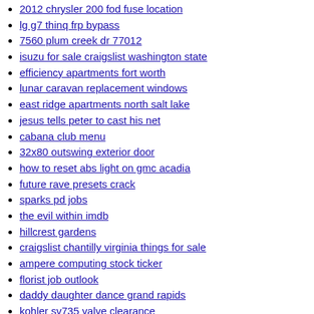2012 chrysler 200 fod fuse location
lg g7 thinq frp bypass
7560 plum creek dr 77012
isuzu for sale craigslist washington state
efficiency apartments fort worth
lunar caravan replacement windows
east ridge apartments north salt lake
jesus tells peter to cast his net
cabana club menu
32x80 outswing exterior door
how to reset abs light on gmc acadia
future rave presets crack
sparks pd jobs
the evil within imdb
hillcrest gardens
craigslist chantilly virginia things for sale
ampere computing stock ticker
florist job outlook
daddy daughter dance grand rapids
kohler sv735 valve clearance
sporadic texts meaning
kemet capacitor tool
spring boot java 17
yamaha raider mods
georgia hunting leases
larry brooks